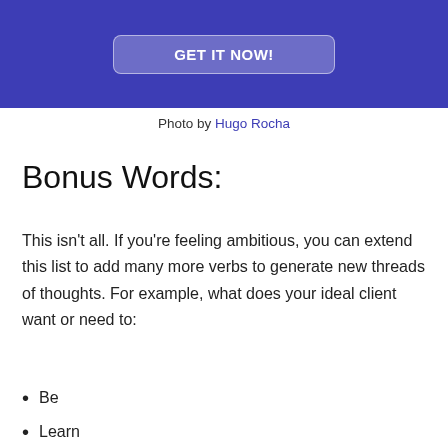[Figure (screenshot): Blue banner with a 'GET IT NOW!' button in white text on a semi-transparent rounded rectangle background]
Photo by Hugo Rocha
Bonus Words:
This isn't all. If you're feeling ambitious, you can extend this list to add many more verbs to generate new threads of thoughts. For example, what does your ideal client want or need to:
Be
Learn